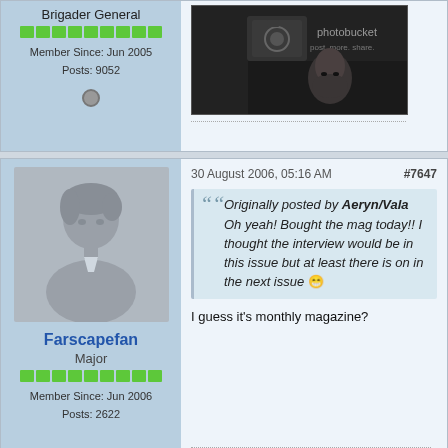Brigader General
Member Since: Jun 2005
Posts: 9052
[Figure (photo): Photobucket placeholder image with woman's face in dark background]
30 August 2006, 05:16 AM    #7647
[Figure (illustration): Default grey avatar silhouette of a person]
Farscapefan
Major
Member Since: Jun 2006
Posts: 2622
Originally posted by Aeryn/Vala
Oh yeah! Bought the mag today!! I thought the interview would be in this issue but at least there is on in the next issue
I guess it's monthly magazine?